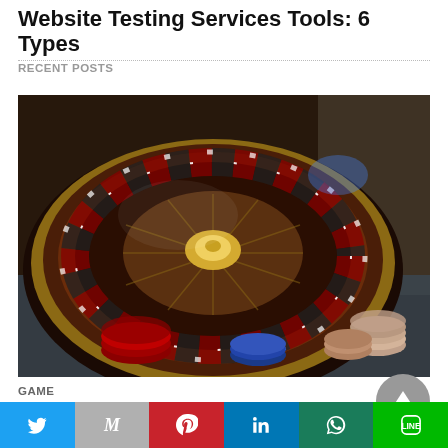Website Testing Services Tools: 6 Types
RECENT POSTS
[Figure (photo): Close-up photograph of a casino roulette wheel with poker chips in the foreground, dark background]
GAME
How to Play Online Roulette in 2022
Social share bar: Twitter, Gmail, Pinterest, LinkedIn, WhatsApp, LINE